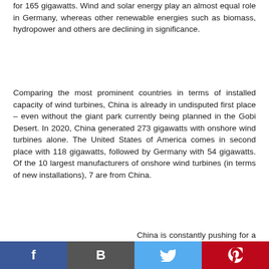for 165 gigawatts. Wind and solar energy play an almost equal role in Germany, whereas other renewable energies such as biomass, hydropower and others are declining in significance.
Comparing the most prominent countries in terms of installed capacity of wind turbines, China is already in undisputed first place – even without the giant park currently being planned in the Gobi Desert. In 2020, China generated 273 gigawatts with onshore wind turbines alone. The United States of America comes in second place with 118 gigawatts, followed by Germany with 54 gigawatts. Of the 10 largest manufacturers of onshore wind turbines (in terms of new installations), 7 are from China.
China is constantly pushing for a green turnaround and aims to be climate-neutral by 2060. In absolute terms, the
[Figure (other): Social media sharing buttons: Facebook (blue), Blogger/Bold B (dark grey), Twitter (light blue), Pinterest (red)]